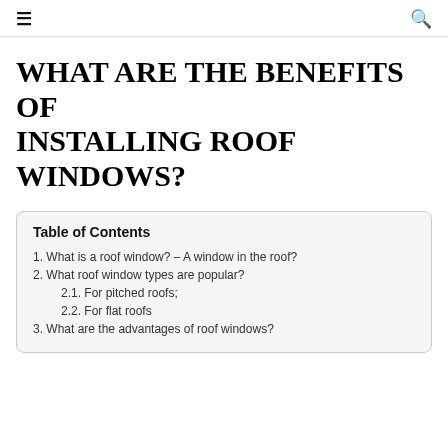☰  🔍
WHAT ARE THE BENEFITS OF INSTALLING ROOF WINDOWS?
Table of Contents
1. What is a roof window? – A window in the roof?
2. What roof window types are popular?
2.1. For pitched roofs;
2.2. For flat roofs
3. What are the advantages of roof windows?